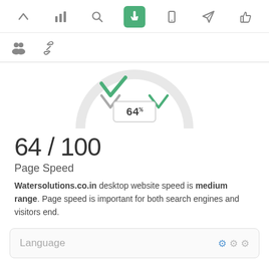[Figure (screenshot): Top navigation bar with icons: up arrow, bar chart, search, touch/cursor (active, green background), mobile, send, thumbs up]
[Figure (screenshot): Second navigation row with icons: users group, links/chain]
[Figure (other): Partial gauge/speedometer showing 64% in center digital display with green check arrows on both sides]
64 / 100
Page Speed
Watersolutions.co.in desktop website speed is medium range. Page speed is important for both search engines and visitors end.
Language